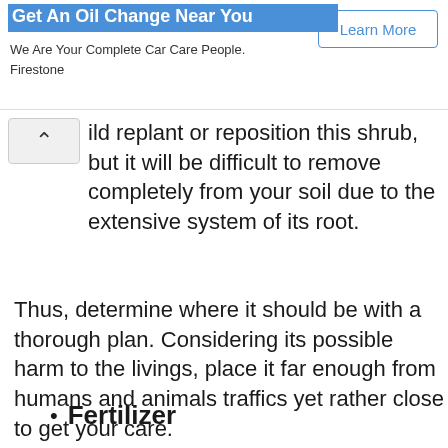Get An Oil Change Near You — We Are Your Complete Car Care People. Firestone — Learn More
ild replant or reposition this shrub, but it will be difficult to remove completely from your soil due to the extensive system of its root.
Thus, determine where it should be with a thorough plan. Considering its possible harm to the livings, place it far enough from humans and animals traffics yet rather close to get your care.
Fertilizer